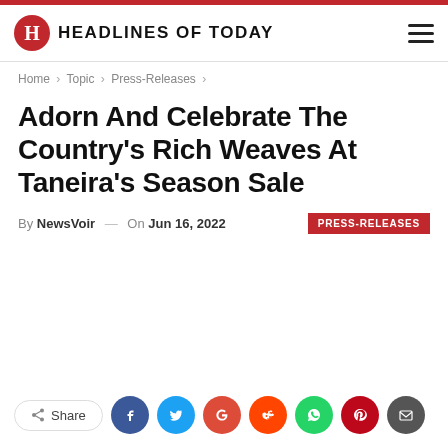HEADLINES OF TODAY
Home > Topic > Press-Releases >
Adorn And Celebrate The Country's Rich Weaves At Taneira's Season Sale
By NewsVoir — On Jun 16, 2022   PRESS-RELEASES
Share